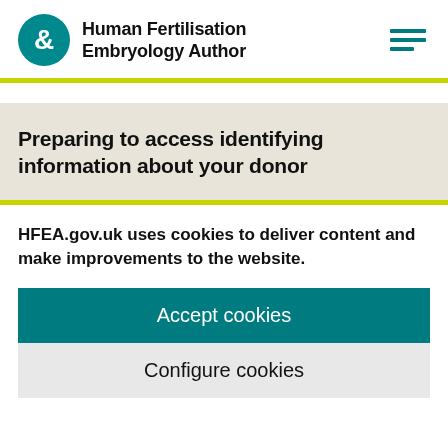Human Fertilisation Embryology Author
Preparing to access identifying information about your donor
HFEA.gov.uk uses cookies to deliver content and make improvements to the website.
Accept cookies
Configure cookies